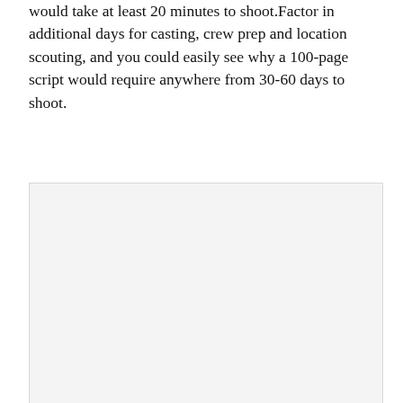would take at least 20 minutes to shoot.Factor in additional days for casting, crew prep and location scouting, and you could easily see why a 100-page script would require anywhere from 30-60 days to shoot.
[Figure (other): A light gray placeholder image box with a thin border, approximately 245px tall, occupying the lower portion of the page.]